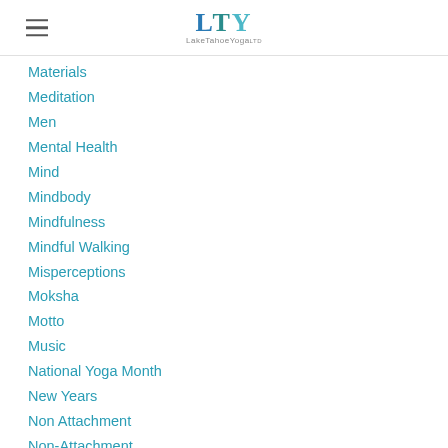LTY LakeTahoeYoga
Materials
Meditation
Men
Mental Health
Mind
Mindbody
Mindfulness
Mindful Walking
Misperceptions
Moksha
Motto
Music
National Yoga Month
New Years
Non Attachment
Non-Attachment
On-Demand Yoga